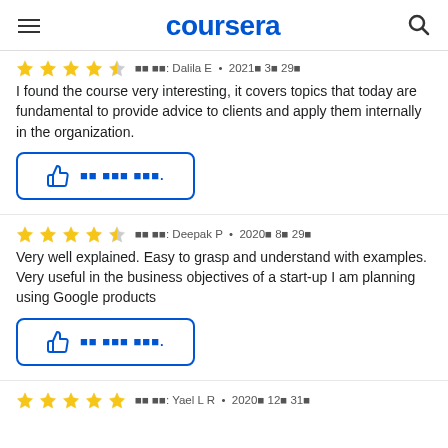coursera
☆☆☆☆☆ 작성자: Dalila E • 2021년 3월 29일
I found the course very interesting, it covers topics that today are fundamental to provide advice to clients and apply them internally in the organization.
[Figure (other): Thumbs up helpful button with garbled text]
☆☆☆☆☆ 작성자: Deepak P • 2020년 8월 29일
Very well explained. Easy to grasp and understand with examples. Very useful in the business objectives of a start-up I am planning using Google products
[Figure (other): Thumbs up helpful button with garbled text]
☆☆☆☆☆ 작성자: Yael L R • 2020년 12월 31일